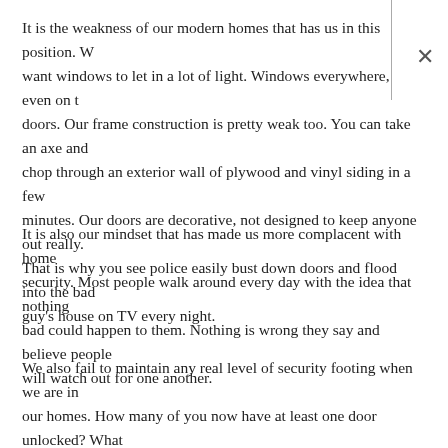It is the weakness of our modern homes that has us in this position. We want windows to let in a lot of light. Windows everywhere, even on the doors. Our frame construction is pretty weak too. You can take an axe and chop through an exterior wall of plywood and vinyl siding in a few minutes. Our doors are decorative, not designed to keep anyone out really. That is why you see police easily bust down doors and flood into the bad guy's house on TV every night.
It is also our mindset that has made us more complacent with home security. Most people walk around every day with the idea that nothing bad could happen to them. Nothing is wrong they say and believe people will watch out for one another.
We also fail to maintain any real level of security footing when we are in our homes. How many of you now have at least one door unlocked? What is stopping anyone from walking right in? Nothing but the right person